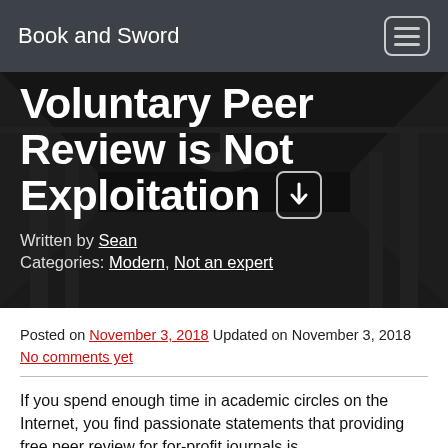Book and Sword
Voluntary Peer Review is Not Exploitation
Written by Sean
Categories: Modern, Not an expert
Posted on November 3, 2018 Updated on November 3, 2018 No comments yet
If you spend enough time in academic circles on the Internet, you find passionate statements that providing free peer review for for-profit journals is